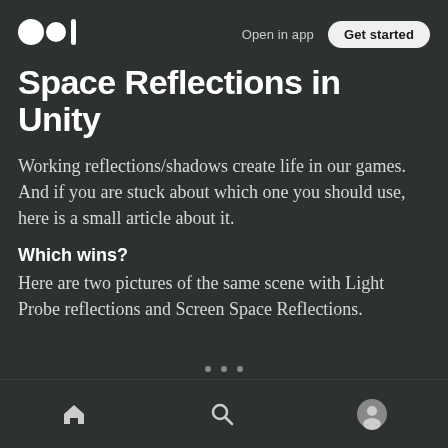Open in app | Get started
Space Reflections in Unity
Working reflections/shadows create life in our games. And if you are stuck about which one you should use, here is a small article about it.
Which wins?
Here are two pictures of the same scene with Light Probe reflections and Screen Space Reflections.
• • •